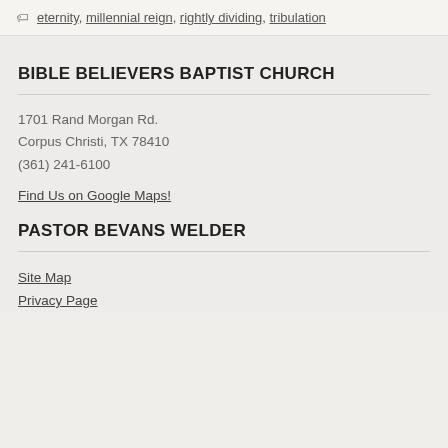eternity, millennial reign, rightly dividing, tribulation
BIBLE BELIEVERS BAPTIST CHURCH
1701 Rand Morgan Rd.
Corpus Christi, TX 78410
(361) 241-6100
Find Us on Google Maps!
PASTOR BEVANS WELDER
Site Map
Privacy Page